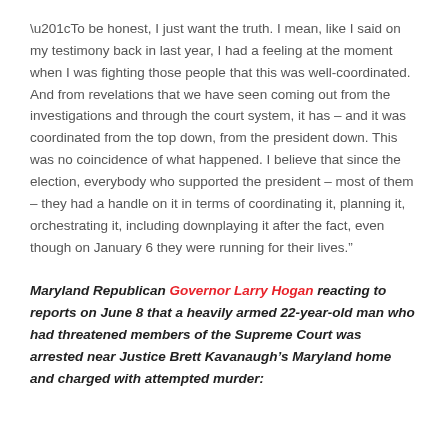“To be honest, I just want the truth. I mean, like I said on my testimony back in last year, I had a feeling at the moment when I was fighting those people that this was well-coordinated. And from revelations that we have seen coming out from the investigations and through the court system, it has – and it was coordinated from the top down, from the president down. This was no coincidence of what happened. I believe that since the election, everybody who supported the president – most of them – they had a handle on it in terms of coordinating it, planning it, orchestrating it, including downplaying it after the fact, even though on January 6 they were running for their lives.”
Maryland Republican Governor Larry Hogan reacting to reports on June 8 that a heavily armed 22-year-old man who had threatened members of the Supreme Court was arrested near Justice Brett Kavanaugh’s Maryland home and charged with attempted murder: